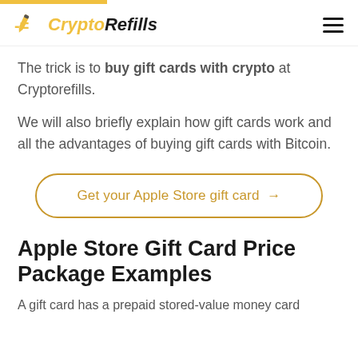CryptoRefills
The trick is to buy gift cards with crypto at Cryptorefills.
We will also briefly explain how gift cards work and all the advantages of buying gift cards with Bitcoin.
Get your Apple Store gift card →
Apple Store Gift Card Price Package Examples
A gift card has a prepaid stored-value money card